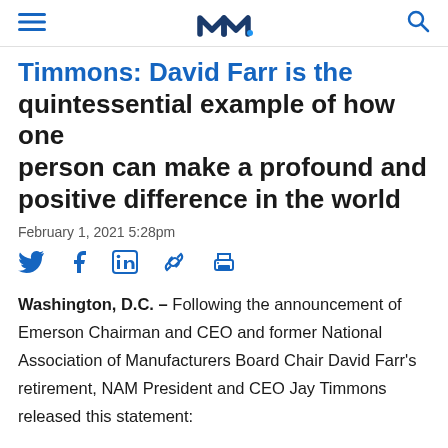NAM logo and navigation
Timmons: David Farr is the quintessential example of how one person can make a profound and positive difference in the world
February 1, 2021 5:28pm
[Figure (other): Social media share icons: Twitter, Facebook, LinkedIn, link/copy, print]
Washington, D.C. – Following the announcement of Emerson Chairman and CEO and former National Association of Manufacturers Board Chair David Farr's retirement, NAM President and CEO Jay Timmons released this statement: